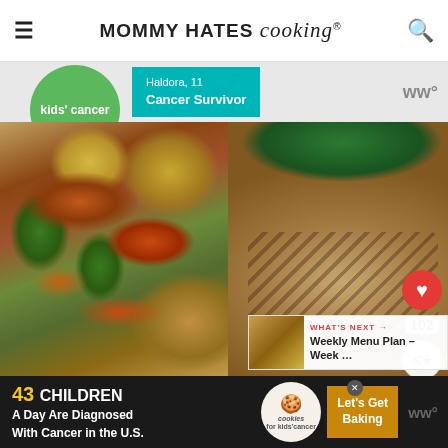MOMMY HATES cooking
[Figure (photo): Partial ad banner showing green bubble with 'kids cancer' text, teal box with 'Haldora, 11 Cancer Survivor', and WW logo]
[Figure (photo): Two food photos side by side: left shows roasted vegetables (carrots, green beans, potatoes), right shows grilled meat with rice and herb garnish]
MENU PLAN
[Figure (other): What's Next panel: thumbnail of food, label 'WHAT'S NEXT', title 'Weekly Menu Plan – Week ...']
[Figure (photo): Bottom ad banner: '43 CHILDREN A Day Are Diagnosed With Cancer in the U.S.' with cookies for kids cancer logo and 'Let's Get Baking' button]